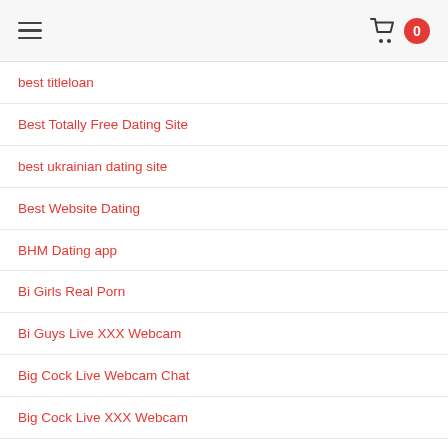≡  [cart] 0
best titleloan
Best Totally Free Dating Site
best ukrainian dating site
Best Website Dating
BHM Dating app
Bi Girls Real Porn
Bi Guys Live XXX Webcam
Big Cock Live Webcam Chat
Big Cock Live XXX Webcam
bikerplanet espa?a
bildkontakte.org Ich dachte dar?ber